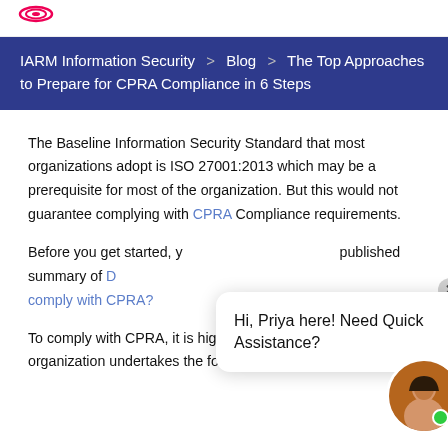IARM Information Security > Blog > The Top Approaches to Prepare for CPRA Compliance in 6 Steps
The Baseline Information Security Standard that most organizations adopt is ISO 27001:2013 which may be a prerequisite for most of the organization. But this would not guarantee complying with CPRA Compliance requirements.
Before you get started, you may want to read our published summary of Does your business need to comply with CPRA?
To comply with CPRA, it is highly recommended that your organization undertakes the following programs to achieve
[Figure (other): Chat popup with avatar of Priya and message: Hi, Priya here! Need Quick Assistance?]